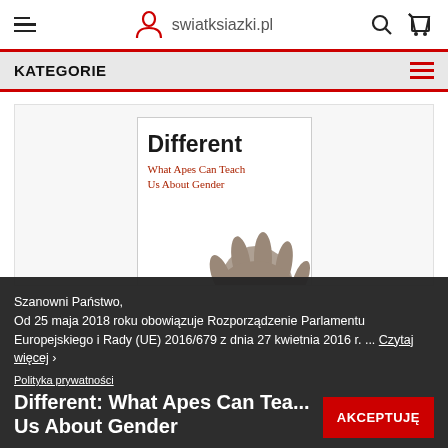swiatksiazki.pl
KATEGORIE
[Figure (photo): Book cover: 'Different – What Apes Can Teach Us About Gender', showing a primate hand reaching forward on a white background with red subtitle text.]
Szanowni Państwo, Od 25 maja 2018 roku obowiązuje Rozporządzenie Parlamentu Europejskiego i Rady (UE) 2016/679 z dnia 27 kwietnia 2016 r. ... Czytaj więcej ›
Different: What Apes Can Teach Us About Gender
Polityka prywatności
AKCEPTUJĘ